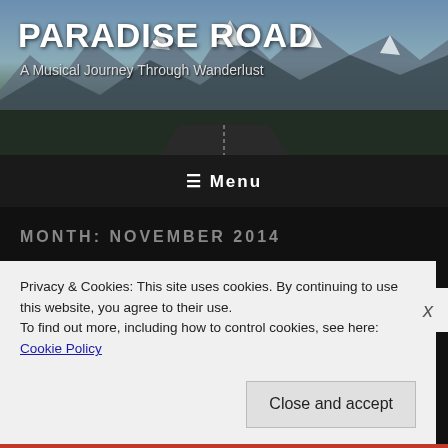[Figure (photo): Mountain landscape banner with road, snowy peaks and forest, dark sky gradient serving as website header background]
PARADISE ROAD
A Musical Journey Through Wanderlust
≡ Menu
MONTH: NOVEMBER 2014
NOVEMBER 20, 2014
D-PAN Workshop – Mill Neck, NY Student Video
Privacy & Cookies: This site uses cookies. By continuing to use this website, you agree to their use.
To find out more, including how to control cookies, see here: Cookie Policy
Close and accept